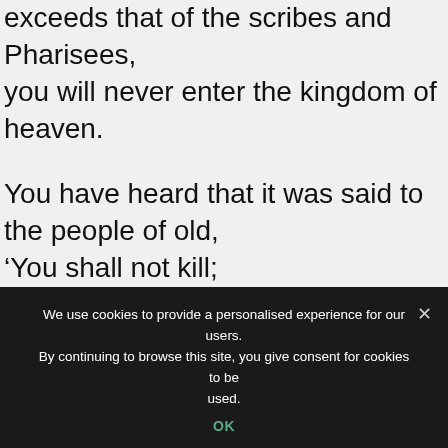exceeds that of the scribes and Pharisees, you will never enter the kingdom of heaven.
You have heard that it was said to the people of old, ‘You shall not kill; and whoever kills shall be liable to judgment.’ But I say to you that everyone who is angry with his brother or sister shall be liable to judgment; whoever insults his brother or sister shall be liable to the council, and whoever says, ‘You fool!’ shall be liable to the hell of
We use cookies to provide a personalised experience for our users. By continuing to browse this site, you give consent for cookies to be used.